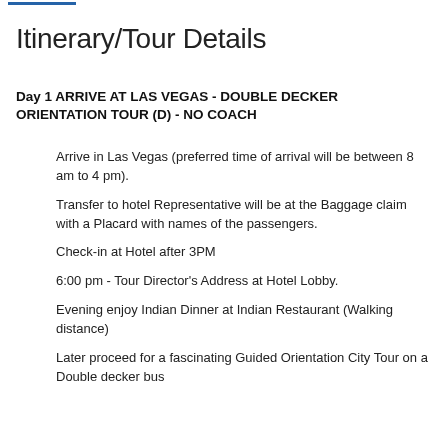Itinerary/Tour Details
Day 1 ARRIVE AT LAS VEGAS - DOUBLE DECKER ORIENTATION TOUR (D) - NO COACH
Arrive in Las Vegas (preferred time of arrival will be between 8 am to 4 pm).
Transfer to hotel Representative will be at the Baggage claim with a Placard with names of the passengers.
Check-in at Hotel after 3PM
6:00 pm - Tour Director's Address at Hotel Lobby.
Evening enjoy Indian Dinner at Indian Restaurant (Walking distance)
Later proceed for a fascinating Guided Orientation City Tour on a Double decker bus